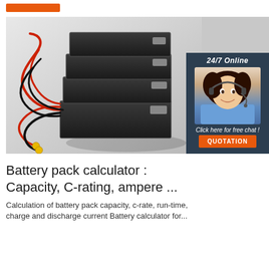[Figure (photo): Stacked battery pack with red and black wires connected, on light gray background. Overlaid with a 24/7 online chat widget showing a woman with a headset and a QUOTATION button.]
Battery pack calculator : Capacity, C-rating, ampere ...
Calculation of battery pack capacity, c-rate, run-time, charge and discharge current Battery calculator for...